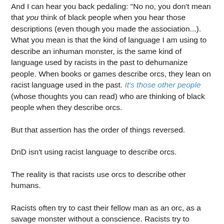And I can hear you back pedaling: 'No no, you don't mean that you think of black people when you hear those descriptions (even though you made the association...).  What you mean is that the kind of language I am using to describe an inhuman monster, is the same kind of language used by racists in the past to dehumanize people.  When books or games describe orcs, they lean on racist language used in the past.  It's those other people (whose thoughts you can read) who are thinking of black people when they describe orcs.
But that assertion has the order of things reversed.
DnD isn't using racist language to describe orcs.
The reality is that racists use orcs to describe other humans.
Racists often try to cast their fellow man as an orc, as a savage monster without a conscience.  Racists try to pretend that another group of humans are creatures from fairy tales and nightmares.  Racists want it so that when you think of their particular pet group of people to hate, they evoke in your mind the fiends that will harm your children into the...